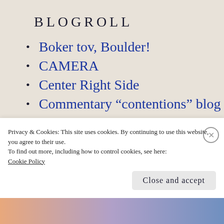BLOGROLL
Boker tov, Boulder!
CAMERA
Center Right Side
Commentary “contentions” blog
Constant Conservative
Finding Ponies
Privacy & Cookies: This site uses cookies. By continuing to use this website, you agree to their use.
To find out more, including how to control cookies, see here: Cookie Policy
Close and accept